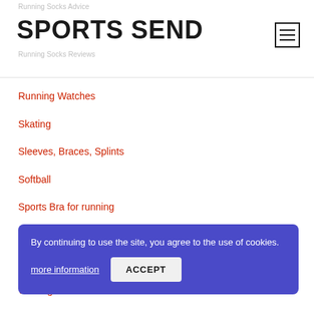Running Socks Advice | SPORTS SEND | Running Socks Reviews
Running Watches
Skating
Sleeves, Braces, Splints
Softball
Sports Bra for running
Sunglasses Guide and Advice
Treadmill reviews and guide
Walking Shoes
Walking Shoes (faded)
Walking Shoes Advice
Walking Shoes Reviews
By continuing to use the site, you agree to the use of cookies. more information ACCEPT